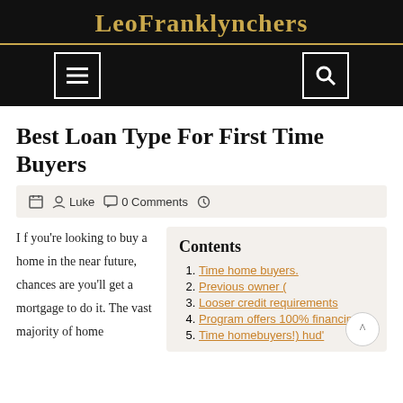LeoFranklynchers
Best Loan Type For First Time Buyers
📅 👤 Luke 💬 0 Comments 🕐
I f you're looking to buy a home in the near future, chances are you'll get a mortgage to do it. The vast majority of home
Contents
Time home buyers.
Previous owner (
Looser credit requirements
Program offers 100% financing
Time homebuyers!) hud'